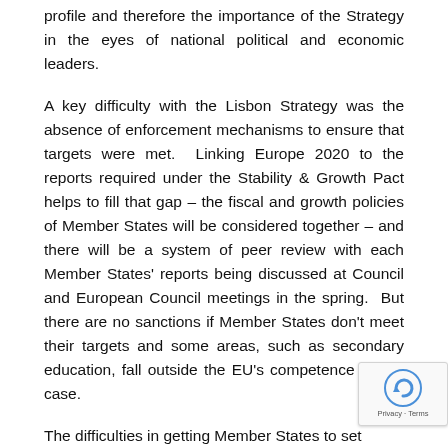profile and therefore the importance of the Strategy in the eyes of national political and economic leaders.
A key difficulty with the Lisbon Strategy was the absence of enforcement mechanisms to ensure that targets were met. Linking Europe 2020 to the reports required under the Stability & Growth Pact helps to fill that gap – the fiscal and growth policies of Member States will be considered together – and there will be a system of peer review with each Member States' reports being discussed at Council and European Council meetings in the spring. But there are no sanctions if Member States don't meet their targets and some areas, such as secondary education, fall outside the EU's competence in any case.
The difficulties in getting Member States to set … and to adopt the policies to meet them were high… in the Commission's survey of the draft National Reform…